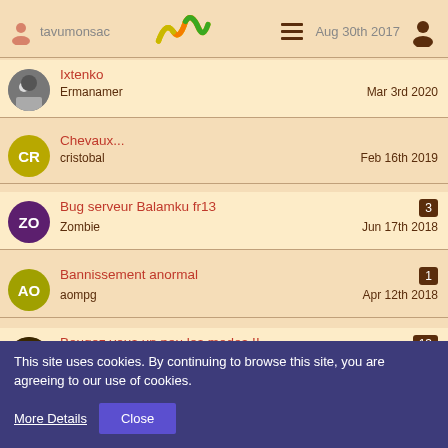tavumonsac — Aug 30th 2017
Ixtenko / Ermanamer — Mar 3rd 2020
Chevaux... / cristobal — Feb 16th 2019
Bug serveur Balamku fr13 [3] / Zombie — Jun 17th 2018
Bannissement anormal [1] / aompg — Apr 12th 2018
Bougez vous un peu les modos !! [13] / SAURON — Apr 6th 2018
Suite des erreurs du jeu : style, orthographe, grammaire [2]
This site uses cookies. By continuing to browse this site, you are agreeing to our use of cookies.
More Details | Close